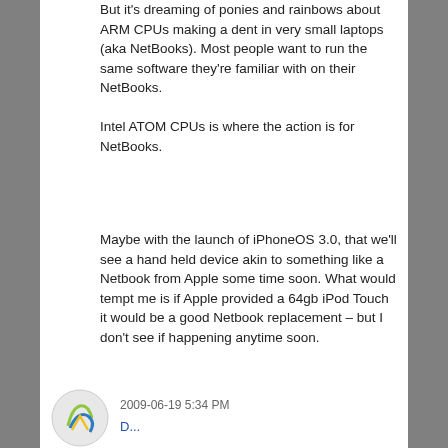But it's dreaming of ponies and rainbows about ARM CPUs making a dent in very small laptops (aka NetBooks). Most people want to run the same software they're familiar with on their NetBooks.

Intel ATOM CPUs is where the action is for NetBooks.
Maybe with the launch of iPhoneOS 3.0, that we'll see a hand held device akin to something like a Netbook from Apple some time soon. What would tempt me is if Apple provided a 64gb iPod Touch it would be a good Netbook replacement – but I don't see if happening anytime soon.
2009-06-19 5:34 PM